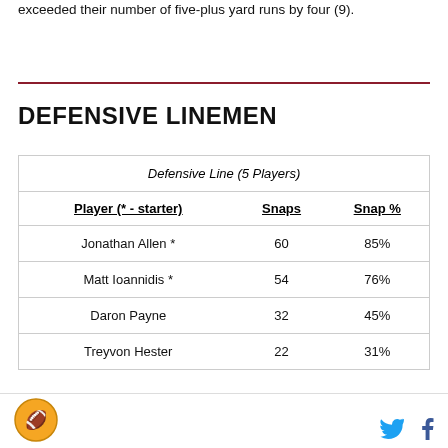exceeded their number of five-plus yard runs by four (9).
DEFENSIVE LINEMEN
| Player (* - starter) | Snaps | Snap % |
| --- | --- | --- |
| Jonathan Allen * | 60 | 85% |
| Matt Ioannidis * | 54 | 76% |
| Daron Payne | 32 | 45% |
| Treyvon Hester | 22 | 31% |
Logo and social icons